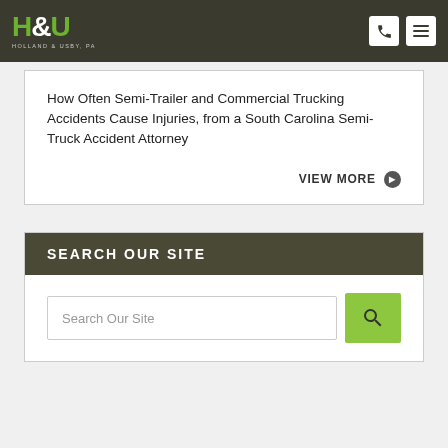Holland & Usby, PA
How Often Semi-Trailer and Commercial Trucking Accidents Cause Injuries, from a South Carolina Semi-Truck Accident Attorney
VIEW MORE
SEARCH OUR SITE
Search Our Site